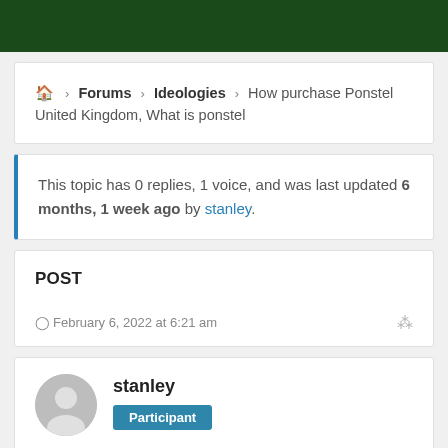🏠 › Forums › Ideologies › How purchase Ponstel United Kingdom, What is ponstel
This topic has 0 replies, 1 voice, and was last updated 6 months, 1 week ago by stanley.
POST
February 6, 2022 at 6:21 am
stanley
Participant